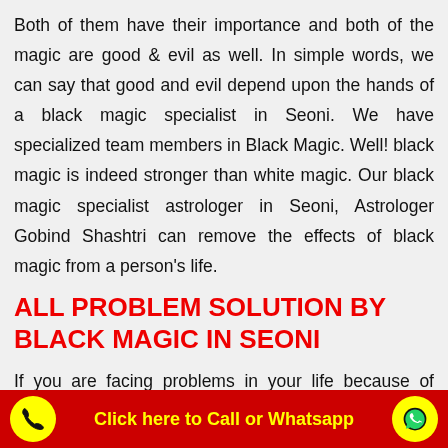Both of them have their importance and both of the magic are good & evil as well. In simple words, we can say that good and evil depend upon the hands of a black magic specialist in Seoni. We have specialized team members in Black Magic. Well! black magic is indeed stronger than white magic. Our black magic specialist astrologer in Seoni, Astrologer Gobind Shashtri can remove the effects of black magic from a person's life.
ALL PROBLEM SOLUTION BY BLACK MAGIC IN SEONI
If you are facing problems in your life because of others and want to take revenge from then you can use the
Click here to Call or Whatsapp